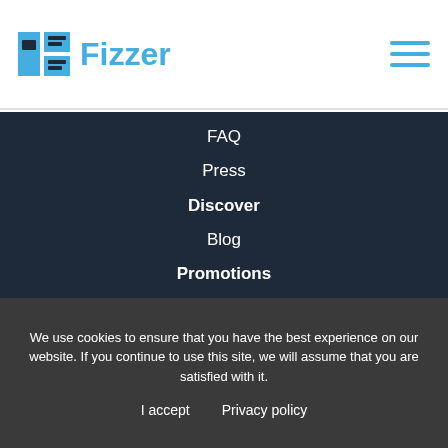Fizzer
FAQ
Press
Discover
Blog
Promotions
Jobs
We use cookies to ensure that you have the best experience on our website. If you continue to use this site, we will assume that you are satisfied with it.
I accept   Privacy policy